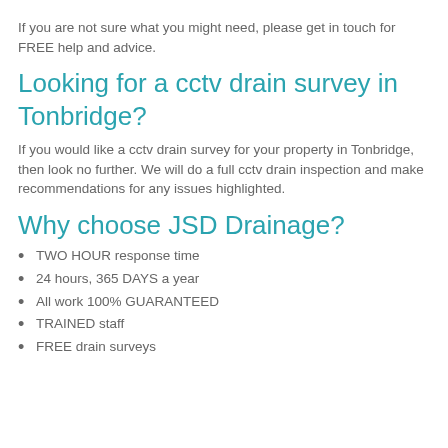If you are not sure what you might need, please get in touch for FREE help and advice.
Looking for a cctv drain survey in Tonbridge?
If you would like a cctv drain survey for your property in Tonbridge, then look no further. We will do a full cctv drain inspection and make recommendations for any issues highlighted.
Why choose JSD Drainage?
TWO HOUR response time
24 hours, 365 DAYS a year
All work 100% GUARANTEED
TRAINED staff
FREE drain surveys